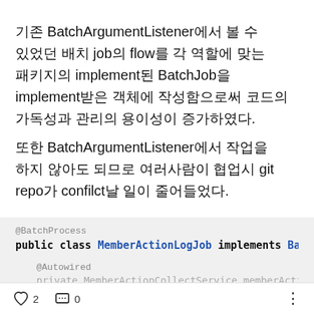기존 BatchArgumentListener에서 볼 수 있었던 배치 job의 flow를 각 역할에 맞는 패키지의 implement된 BatchJob을 implement받은 객체에 작성함으로써 코드의 가독성과 관리의 용이성이 증가하였다.
또한 BatchArgumentListener에서 작업을 하지 않아도 되므로 여러사람이 협업시 git repo가 confilct날 일이 줄어들었다.
[Figure (screenshot): Code block showing @BatchProcess annotation and public class MemberActionLogJob implements BatchJob declaration, with @Autowired and a partially visible private field line]
♡ 2   💬 0   ⋮